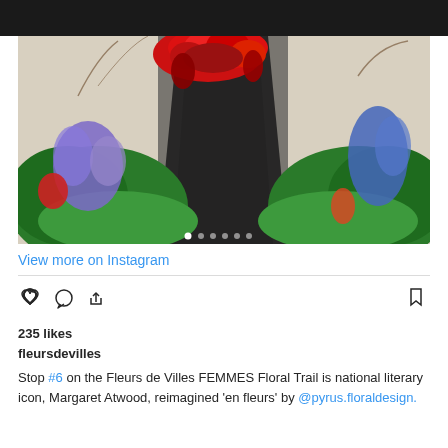[Figure (photo): Floral arrangement photograph showing a figure draped in black fabric with large red roses on top, surrounded by lush green foliage and purple flowers on both sides, with carousel navigation dots at bottom]
View more on Instagram
235 likes
fleursdevilles
Stop #6 on the Fleurs de Villes FEMMES Floral Trail is national literary icon, Margaret Atwood, reimagined 'en fleurs' by @pyrus.floraldesign.